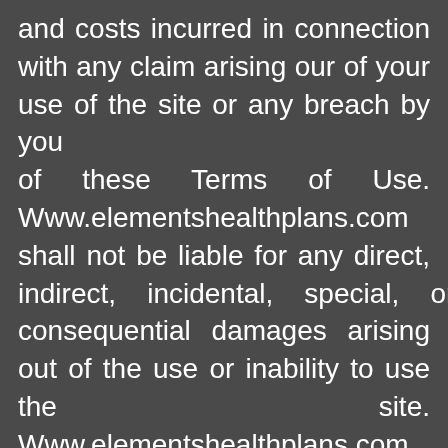and costs incurred in connection with any claim arising our of your use of the site or any breach by you of these Terms of Use. Www.elementshealthplans.com shall not be liable for any direct, indirect, incidental, special, or consequential damages arising out of the use or inability to use the site. Www.elementshealthplans.com does not warrant that the site will be uninterrupted, error free, or virus free; nor does Www.elementshealthplans.com make any warranty as to the results to be obtained from use of the site